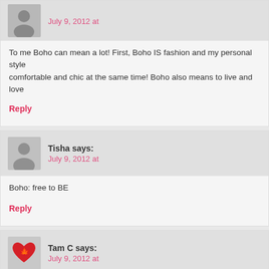July 9, 2012 at
To me Boho can mean a lot! First, Boho IS fashion and my personal style comfortable and chic at the same time! Boho also means to live and love
Reply
Tisha says: July 9, 2012 at
Boho: free to BE
Reply
Tam C says: July 9, 2012 at
Allowing yourself permission to be free. 🙂
Reply
Ami says: